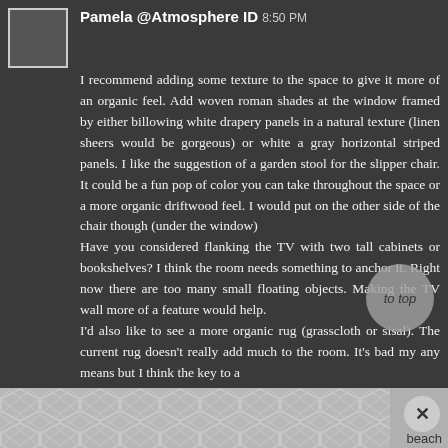[Figure (other): User avatar placeholder box]
Pamela @Atmosphere ID 8:50 PM
I recommend adding some texture to the space to give it more of an organic feel. Add woven roman shades at the window framed by either billowing white drapery panels in a natural texture (linen sheers would be gorgeous) or white a gray horizontal striped panels. I like the suggestion of a garden stool for the slipper chair. It could be a fun pop of color you can take throughout the space or a more organic driftwood feel. I would put on the other side of the chair though (under the window)
Have you considered flanking the TV with two tall cabinets or bookshelves? I think the room needs something to anchor it. Right now there are too many small floating objects. Making the TV wall more of a feature would help.
I'd also like to see a more organic rug (grasscloth or sisal). The current rug doesn't really add much to the room. It's bad my any means but I think the key to a
[Figure (other): Geometric hexagon/diamond pattern footer strip in gray tones with a close button and 'beach' label]